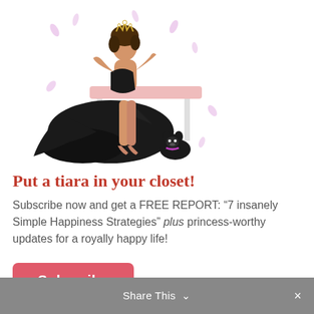[Figure (illustration): Fashion illustration of a woman in a black ballgown with tiara sitting on a bench, with a small dog and falling petals in background]
Put a tiara in your closet!
Subscribe now and get a FREE REPORT: “7 insanely Simple Happiness Strategies” plus princess-worthy updates for a royally happy life!
Subscribe
Share This ⌄   ×